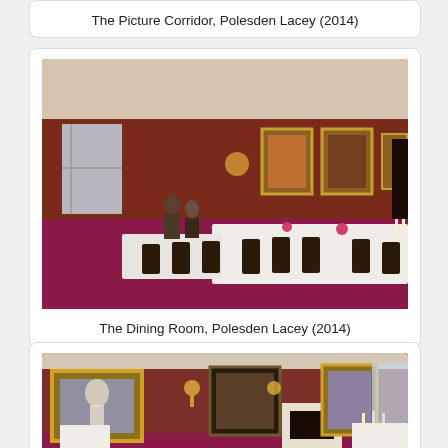The Picture Corridor, Polesden Lacey (2014)
[Figure (photo): Interior photograph of the Dining Room at Polesden Lacey (2014), showing a long formal dining table set with white tablecloth, dark wooden chairs, red carpet, and paintings on dark red walls.]
The Dining Room, Polesden Lacey (2014)
[Figure (photo): Interior photograph of a room at Polesden Lacey showing paintings in ornate gold frames on patterned wallpaper walls, a marble fireplace, wall sconces, and a dining table set with candles in the background.]